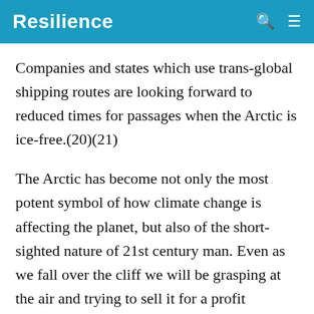Resilience
Companies and states which use trans-global shipping routes are looking forward to reduced times for passages when the Arctic is ice-free.(20)(21)
The Arctic has become not only the most potent symbol of how climate change is affecting the planet, but also of the short-sighted nature of 21st century man. Even as we fall over the cliff we will be grasping at the air and trying to sell it for a profit